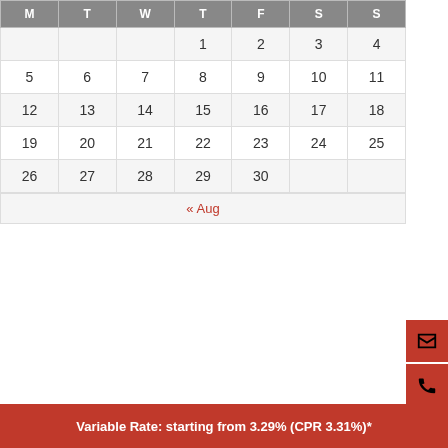| M | T | W | T | F | S | S |
| --- | --- | --- | --- | --- | --- | --- |
|  |  |  | 1 | 2 | 3 | 4 |
| 5 | 6 | 7 | 8 | 9 | 10 | 11 |
| 12 | 13 | 14 | 15 | 16 | 17 | 18 |
| 19 | 20 | 21 | 22 | 23 | 24 | 25 |
| 26 | 27 | 28 | 29 | 30 |  |  |
« Aug
CATEGORIES
Banking
Economy
Variable Rate: starting from 3.29% (CPR 3.31%)*